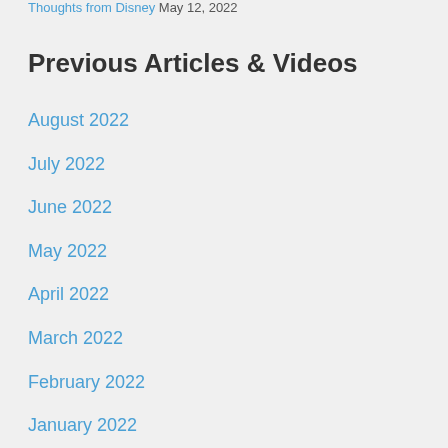Thoughts from Disney May 12, 2022
Previous Articles & Videos
August 2022
July 2022
June 2022
May 2022
April 2022
March 2022
February 2022
January 2022
December 2021
November 2021